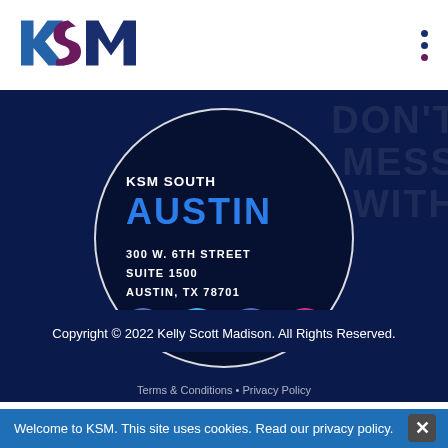[Figure (logo): KSM logo with blue and purple/maroon letter shapes]
KSM SOUTH
AUSTIN
300 W. 6TH STREET
SUITE 1500
AUSTIN, TX 78701
[Figure (illustration): Social media icons: Facebook, Twitter, LinkedIn, Instagram in circular colored buttons]
Copyright © 2022 Kelly Scott Madison. All Rights Reserved.
Terms & Conditions • Privacy Policy
Welcome to KSM. This site uses cookies. Read our privacy policy.